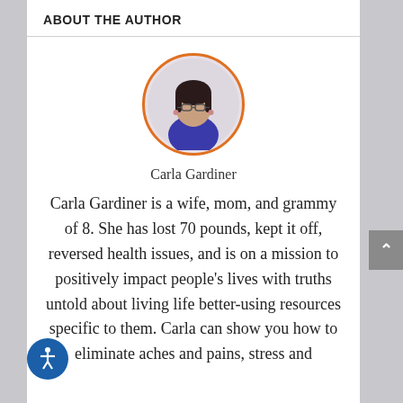ABOUT THE AUTHOR
[Figure (photo): Circular portrait photo of Carla Gardiner with orange border, showing a woman with dark hair and glasses wearing a blue top]
Carla Gardiner
Carla Gardiner is a wife, mom, and grammy of 8. She has lost 70 pounds, kept it off, reversed health issues, and is on a mission to positively impact people's lives with truths untold about living life better-using resources specific to them. Carla can show you how to eliminate aches and pains, stress and